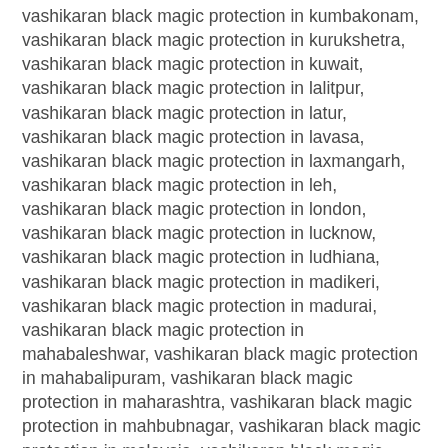vashikaran black magic protection in kumbakonam, vashikaran black magic protection in kurukshetra, vashikaran black magic protection in kuwait, vashikaran black magic protection in lalitpur, vashikaran black magic protection in latur, vashikaran black magic protection in lavasa, vashikaran black magic protection in laxmangarh, vashikaran black magic protection in leh, vashikaran black magic protection in london, vashikaran black magic protection in lucknow, vashikaran black magic protection in ludhiana, vashikaran black magic protection in madikeri, vashikaran black magic protection in madurai, vashikaran black magic protection in mahabaleshwar, vashikaran black magic protection in mahabalipuram, vashikaran black magic protection in maharashtra, vashikaran black magic protection in mahbubnagar, vashikaran black magic protection in malaysia, vashikaran black magic protection in malegaon, vashikaran black magic protection in manali, vashikaran black magic protection in mandu fort, vashikaran black magic protection in mangalore, vashikaran black magic protection in manipal, vashikaran black magic protection in mardao, vashikaran black magic protection in